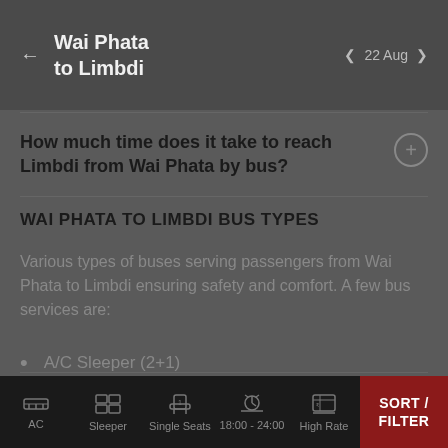Wai Phata to Limbdi — 22 Aug
How much time does it take to reach Limbdi from Wai Phata by bus?
WAI PHATA TO LIMBDI BUS TYPES
Various types of buses serving passengers from Wai Phata to Limbdi ensuring safety and comfort. A few bus services are:
A/C Sleeper (2+1)
AC | Sleeper | Single Seats | 18:00 - 24:00 | High Rate | SORT / FILTER